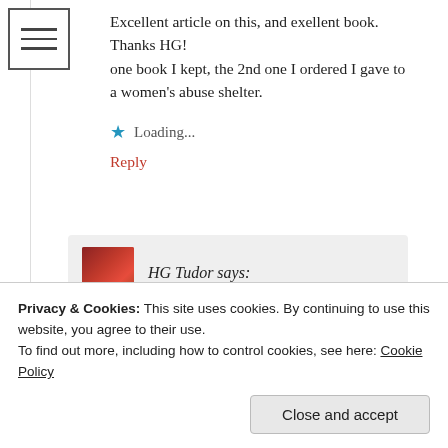[Figure (other): Hamburger menu icon (three horizontal lines) in a square border]
Excellent article on this, and exellent book.
Thanks HG!
one book I kept, the 2nd one I ordered I gave to a women's abuse shelter.
Loading...
Reply
HG Tudor says:
June 6, 2018 at 20:30
Thank you.
Privacy & Cookies: This site uses cookies. By continuing to use this website, you agree to their use.
To find out more, including how to control cookies, see here: Cookie Policy
Close and accept